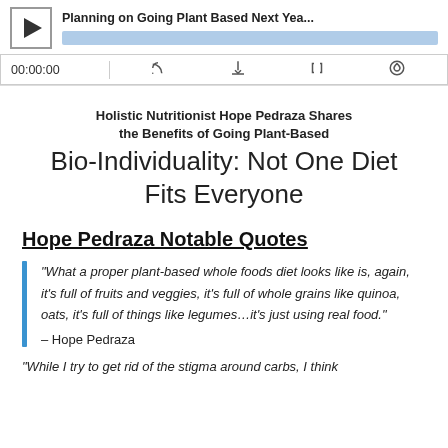[Figure (screenshot): Podcast audio player widget showing play button, episode title 'Planning on Going Plant Based Next Yea...', progress bar, time display '00:00:00', and control icons (RSS, download, embed, subscribe)]
Holistic Nutritionist Hope Pedraza Shares the Benefits of Going Plant-Based Bio-Individuality: Not One Diet Fits Everyone
Hope Pedraza Notable Quotes
“What a proper plant-based whole foods diet looks like is, again, it’s full of fruits and veggies, it’s full of whole grains like quinoa, oats, it’s full of things like legumes…it’s just using real food.” – Hope Pedraza
“While I try to get rid of the stigma around carbs, I think